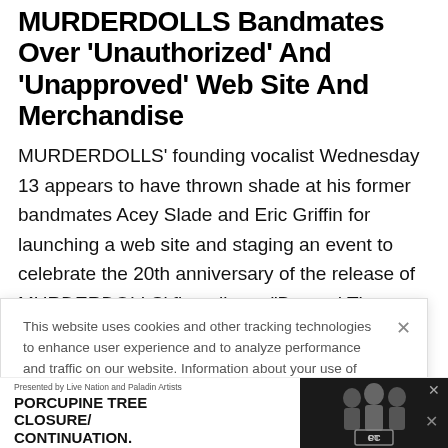MURDERDOLLS Bandmates Over 'Unauthorized' And 'Unapproved' Web Site And Merchandise
MURDERDOLLS' founding vocalist Wednesday 13 appears to have thrown shade at his former bandmates Acey Slade and Eric Griffin for launching a web site and staging an event to celebrate the 20th anniversary of the release of MURDERDOLLS' first album, "Beyond The Valley
This website uses cookies and other tracking technologies to enhance user experience and to analyze performance and traffic on our website. Information about your use of our site may also be shared with social media, advertising, retail and analytics providers and partners.  Privacy Policy
[Figure (infographic): Advertisement banner for 'PORCUPINE TREE CLOSURE/CONTINUATION.' presented by Live Nation and Paladin Artists, with dark image of band members on right side]